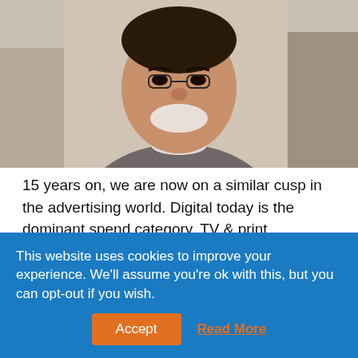[Figure (photo): A man wearing a grey striped sweater, seated indoors with a blurred background showing a living space.]
15 years on, we are now on a similar cusp in the advertising world. Digital today is the dominant spend category, TV & print advertising is declining steadily and the pandemic has helped exponentially increase time spent on digital mediums across platforms. All the big network agencies have pretty much completed their round of acquisitions and are leaders by size
This website uses cookies to improve your experience. We'll assume you're ok with this, but you can opt-out if you wish.
Accept
Read More